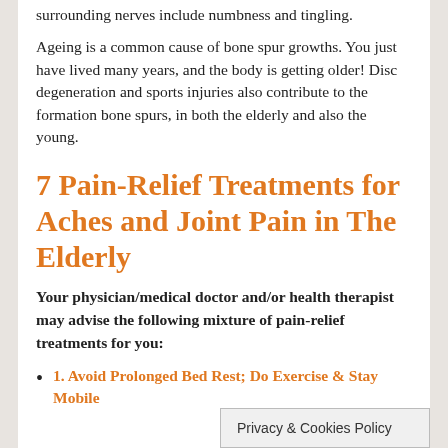surrounding nerves include numbness and tingling.
Ageing is a common cause of bone spur growths. You just have lived many years, and the body is getting older! Disc degeneration and sports injuries also contribute to the formation bone spurs, in both the elderly and also the young.
7 Pain-Relief Treatments for Aches and Joint Pain in The Elderly
Your physician/medical doctor and/or health therapist may advise the following mixture of pain-relief treatments for you:
1.  Avoid Prolonged Bed Rest;  Do Exercise & Stay Mobile